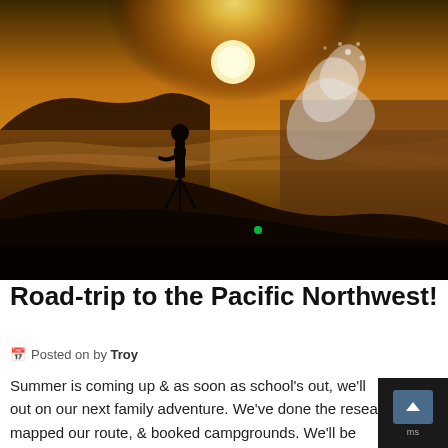[Figure (photo): Silhouette of a person standing on rocky coastal cliffs with a tripod, against a dramatic golden sunset sky. Ocean waves crash against the rocks in the background.]
Road-trip to the Pacific Northwest!
Posted on by Troy
Summer is coming up & as soon as school's out, we'll out on our next family adventure. We've done the resea mapped our route, & booked campgrounds. We'll be heading